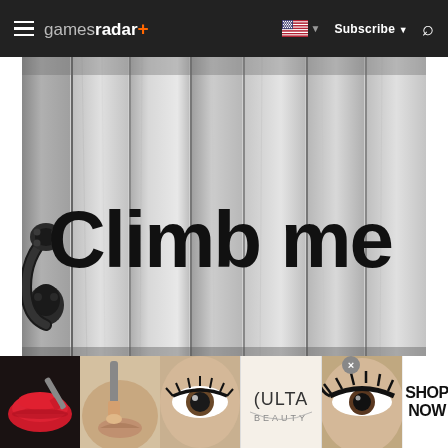gamesradar+ Subscribe
[Figure (photo): Black and white photo of a wooden fence/gate with a black iron handle on the left side. Bold black text reads 'Climb me' overlaid on the wood planks.]
Shabby white garden gates are asking to be
[Figure (photo): Ulta Beauty advertisement banner showing close-up makeup images (red lips, makeup brush, eye with eyeliner, Ulta Beauty logo, dramatic eye) with 'SHOP NOW' text on the right.]